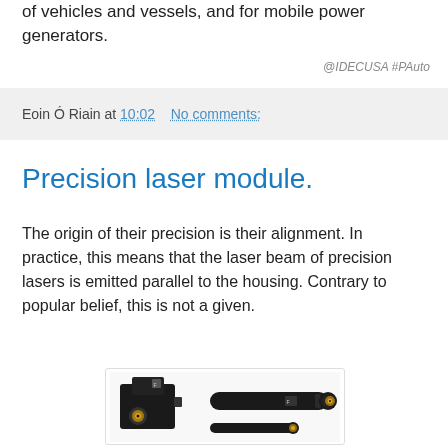of vehicles and vessels, and for mobile power generators.
@IDECUSA #PAuto
Eoin Ó Riain at 10:02    No comments:
Precision laser module.
The origin of their precision is their alignment. In practice, this means that the laser beam of precision lasers is emitted parallel to the housing. Contrary to popular belief, this is not a given.
[Figure (photo): Two black precision laser modules - one rectangular/boxy unit and one cylindrical pen-style unit, both with gold-colored lens apertures]